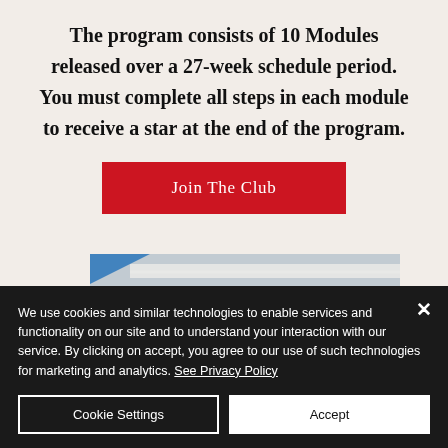The program consists of 10 Modules released over a 27-week schedule period. You must complete all steps in each module to receive a star at the end of the program.
[Figure (other): Red 'Join The Club' button]
[Figure (photo): Partial photograph of a building with blue sky and white trim visible]
We use cookies and similar technologies to enable services and functionality on our site and to understand your interaction with our service. By clicking on accept, you agree to our use of such technologies for marketing and analytics. See Privacy Policy
Cookie Settings
Accept